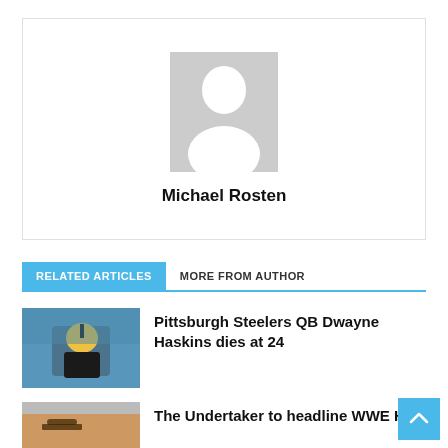[Figure (illustration): Author avatar placeholder — grey square with white silhouette person icon]
Michael Rosten
RELATED ARTICLES   MORE FROM AUTHOR
[Figure (photo): Pittsburgh Steelers QB in game action on field]
Pittsburgh Steelers QB Dwayne Haskins dies at 24
[Figure (photo): The Undertaker photo thumbnail]
The Undertaker to headline WWE Ha...